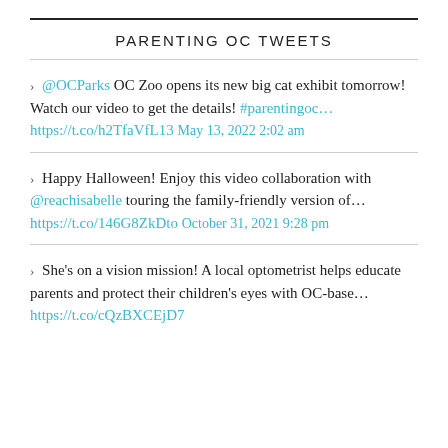PARENTING OC TWEETS
@OCParks OC Zoo opens its new big cat exhibit tomorrow! Watch our video to get the details! #parentingoc… https://t.co/h2TfaVfL13 May 13, 2022 2:02 am
Happy Halloween! Enjoy this video collaboration with @reachisabelle touring the family-friendly version of… https://t.co/146G8ZkDto October 31, 2021 9:28 pm
She's on a vision mission! A local optometrist helps educate parents and protect their children's eyes with OC-base… https://t.co/cQzBXCEjD7